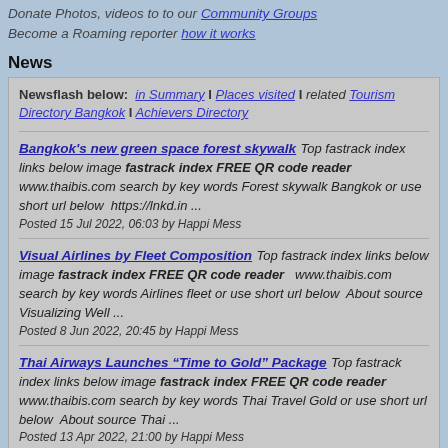Donate Photos, videos to to our Community Groups
Become a Roaming reporter how it works
News
Newsflash below: in Summary I Places visited I related Tourism Directory Bangkok I Achievers Directory
Bangkok's new green space forest skywalk Top fastrack index links below image fastrack index FREE QR code reader www.thaibis.com search by key words Forest skywalk Bangkok or use short url below  https://lnkd.in ... Posted 15 Jul 2022, 06:03 by Happi Mess
Visual Airlines by Fleet Composition Top fastrack index links below image fastrack index FREE QR code reader   www.thaibis.com search by key words Airlines fleet or use short url below  About source Visualizing Well ... Posted 8 Jun 2022, 20:45 by Happi Mess
Thai Airways Launches “Time to Gold” Package Top fastrack index links below image fastrack index FREE QR code reader   www.thaibis.com search by key words Thai Travel Gold or use short url below  About source Thai ... Posted 13 Apr 2022, 21:00 by Happi Mess